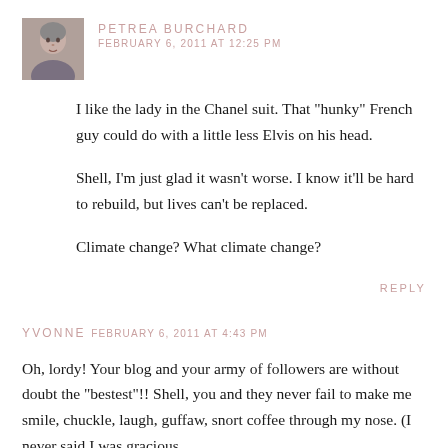[Figure (photo): Small square avatar photo of Petrea Burchard, an older woman with short gray hair.]
PETREA BURCHARD FEBRUARY 6, 2011 AT 12:25 PM
I like the lady in the Chanel suit. That "hunky" French guy could do with a little less Elvis on his head.

Shell, I'm just glad it wasn't worse. I know it'll be hard to rebuild, but lives can't be replaced.

Climate change? What climate change?
REPLY
YVONNE FEBRUARY 6, 2011 AT 4:43 PM
Oh, lordy! Your blog and your army of followers are without doubt the "bestest"!! Shell, you and they never fail to make me smile, chuckle, laugh, guffaw, snort coffee through my nose. (I never said I was gracious